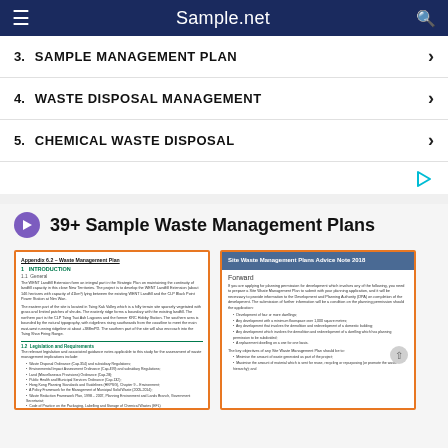Sample.net
3. SAMPLE MANAGEMENT PLAN
4. WASTE DISPOSAL MANAGEMENT
5. CHEMICAL WASTE DISPOSAL
39+ Sample Waste Management Plans
[Figure (screenshot): Thumbnail of document: Appendix 6.2 – Waste Management Plan, showing Introduction section with subsections on General and Legislation and Requirements]
[Figure (screenshot): Thumbnail of document: Site Waste Management Plans Advice Note 2018, showing Forward section with bullet points about planning permission requirements]